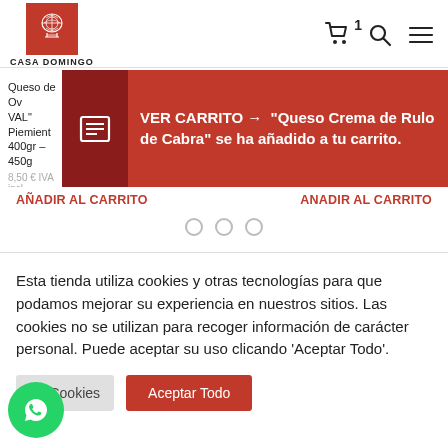[Figure (logo): Casa Domingo logo - red square with decorative emblem, text CASA DOMINGO below]
[Figure (screenshot): Shopping cart icon with badge showing 1, search icon, hamburger menu icon]
Queso de Ov... VAL" Pimienta... 400gr – 450g...
VER CARRITO → "Queso Crema de Rulo de Cabra" se ha añadido a tu carrito.
8,50 € IVA incl...
AÑADIR AL CARRITO
ANADIR AL CARRITO
Esta tienda utiliza cookies y otras tecnologías para que podamos mejorar su experiencia en nuestros sitios. Las cookies no se utilizan para recoger información de carácter personal. Puede aceptar su uso clicando 'Aceptar Todo'.
de Cookies
Aceptar Todo